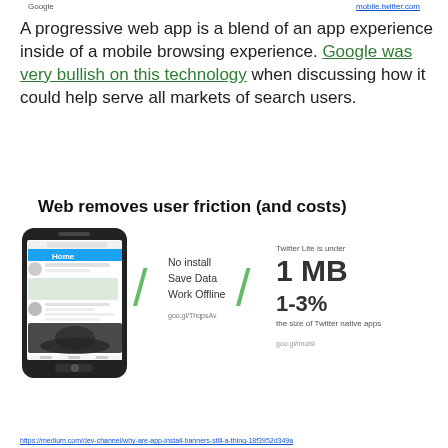Google   mobile.twitter.com
A progressive web app is a blend of an app experience inside of a mobile browsing experience. Google was very bullish on this technology when discussing how it could help serve all markets of search users.
Web removes user friction (and costs)
[Figure (infographic): Infographic showing a smartphone displaying Twitter Lite mobile app, with two green slash dividers. Left section lists: No install, Save Data, Work Offline with link goo.gl/ThqpsAv. Right section shows Twitter Lite is under 1 MB, 1-3% the size of Twitter native apps, with link goo.gl/imoisi]
https://medium.com/dev-channel/why-are-app-install-banners-still-a-thing-18f3952d349a